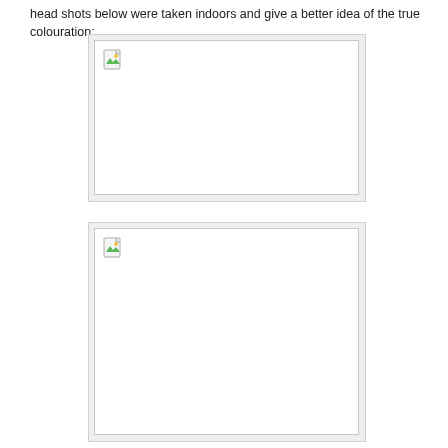head shots below were taken indoors and give a better idea of the true colouration:
[Figure (photo): Placeholder image box 1 (broken image icon shown) — indoor head shot photo]
[Figure (photo): Placeholder image box 2 (broken image icon shown) — indoor head shot photo]